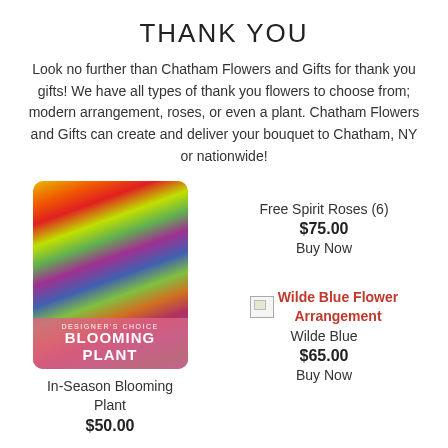THANK YOU
Look no further than Chatham Flowers and Gifts for thank you gifts! We have all types of thank you flowers to choose from; modern arrangement, roses, or even a plant. Chatham Flowers and Gifts can create and deliver your bouquet to Chatham, NY or nationwide!
[Figure (photo): Designer's Choice Blooming Plant product image — collage of colorful flowers with pink banner reading DESIGNER'S CHOICE BLOOMING PLANT]
In-Season Blooming Plant
$50.00
Free Spirit Roses (6)
$75.00
Buy Now
[Figure (photo): Broken image placeholder for Wilde Blue Flower Arrangement]
Wilde Blue Flower Arrangement
Wilde Blue
$65.00
Buy Now